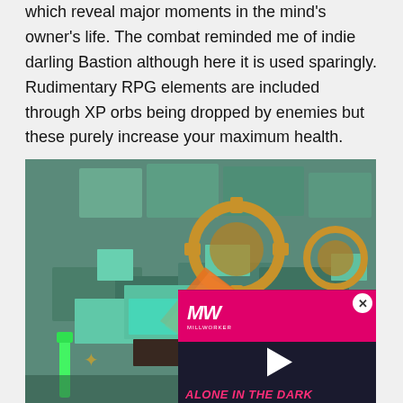which reveal major moments in the mind's owner's life. The combat reminded me of indie darling Bastion although here it is used sparingly. Rudimentary RPG elements are included through XP orbs being dropped by enemies but these purely increase your maximum health.
[Figure (screenshot): Isometric steampunk/fantasy game screenshot showing teal-colored block structures with gears, cogs, and mechanical elements. An orange glowing creature is visible, along with various mechanical contraptions. An advertisement overlay for 'Alone in the Dark Remake' is displayed in the bottom-right corner with a pink/magenta logo reading 'MW' and a play button.]
All of the above makes for an enjoyable and distinctive indie adventure but it's the sensitive balance struck between the game and its themes that really elevates it. The quirky